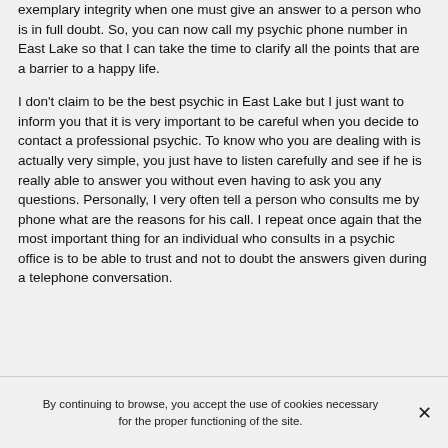exemplary integrity when one must give an answer to a person who is in full doubt. So, you can now call my psychic phone number in East Lake so that I can take the time to clarify all the points that are a barrier to a happy life.
I don't claim to be the best psychic in East Lake but I just want to inform you that it is very important to be careful when you decide to contact a professional psychic. To know who you are dealing with is actually very simple, you just have to listen carefully and see if he is really able to answer you without even having to ask you any questions. Personally, I very often tell a person who consults me by phone what are the reasons for his call. I repeat once again that the most important thing for an individual who consults in a psychic office is to be able to trust and not to doubt the answers given during a telephone conversation.
By continuing to browse, you accept the use of cookies necessary for the proper functioning of the site.